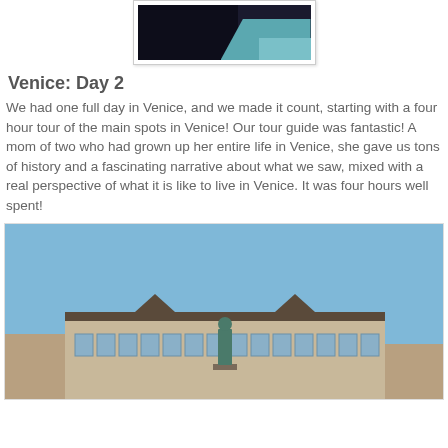[Figure (photo): Partial photo at top of page showing dark and light blue tones, appears to be a scenic or architectural photo cropped at top]
Venice: Day 2
We had one full day in Venice, and we made it count, starting with a four hour tour of the main spots in Venice!  Our tour guide was fantastic!  A mom of two who had grown up her entire life in Venice, she gave us tons of history and a fascinating narrative about what we saw, mixed with a real perspective of what it is like to live in Venice.  It was four hours well spent!
[Figure (photo): Photo of a statue in front of a large modern building with blue sky background, appears to be in Venice Italy]